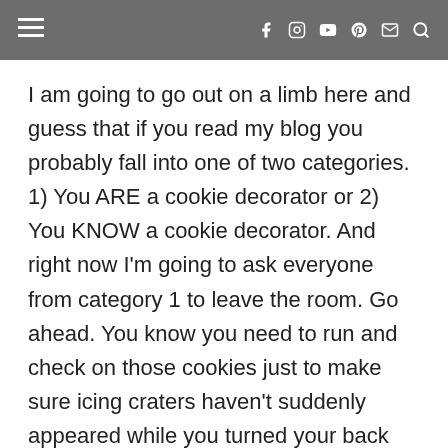≡  f  ⊙  ▶  ⊕  ✉  🔍
I am going to go out on a limb here and guess that if you read my blog you probably fall into one of two categories. 1) You ARE a cookie decorator or 2) You KNOW a cookie decorator. And right now I'm going to ask everyone from category 1 to leave the room. Go ahead. You know you need to run and check on those cookies just to make sure icing craters haven't suddenly appeared while you turned your back anyway. We'll be fine. We're just going to talk about the weather and other very non-interesting things while you are gone. No secrets. No sugar. Nothing at all that you need to